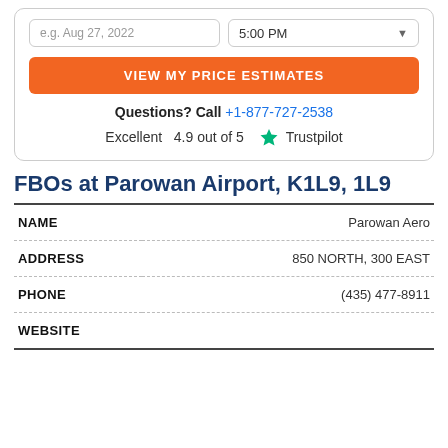e.g. Aug 27, 2022
5:00 PM
VIEW MY PRICE ESTIMATES
Questions? Call +1-877-727-2538
Excellent  4.9 out of 5  ★ Trustpilot
FBOs at Parowan Airport, K1L9, 1L9
| NAME |  |
| --- | --- |
| NAME | Parowan Aero |
| ADDRESS | 850 NORTH, 300 EAST |
| PHONE | (435) 477-8911 |
| WEBSITE |  |